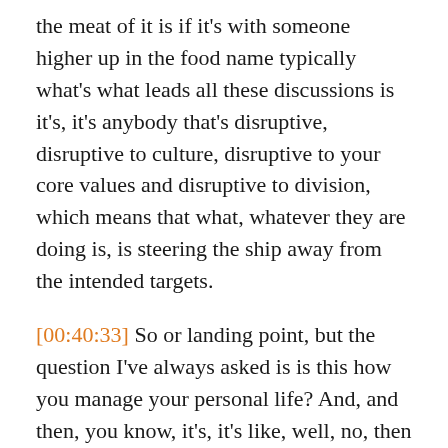the meat of it is if it's with someone higher up in the food name typically what's what leads all these discussions is it's, it's anybody that's disruptive, disruptive to culture, disruptive to your core values and disruptive to division, which means that what, whatever they are doing is, is steering the ship away from the intended targets.
[00:40:33] So or landing point, but the question I've always asked is is this how you manage your personal life? And, and then, you know, it's, it's like, well, no, then it helps hone in on the problem and be like, well, I don't understand the question. Well, if, if you're committing to do something in your personal life with people, family, whichever, and you don't do it.